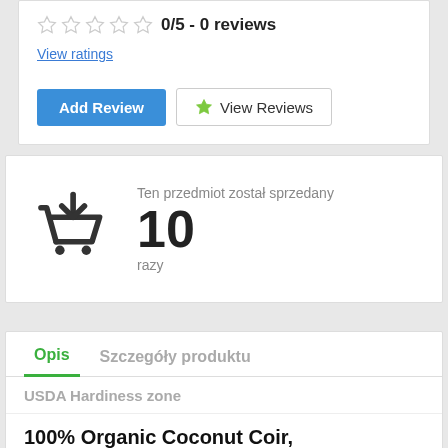0/5 - 0 reviews
View ratings
Add Review
View Reviews
[Figure (infographic): Shopping cart icon with download arrow, indicating item sold count]
Ten przedmiot został sprzedany 10 razy
Opis
Szczegóły produktu
USDA Hardiness zone
100% Organic Coconut Coir,